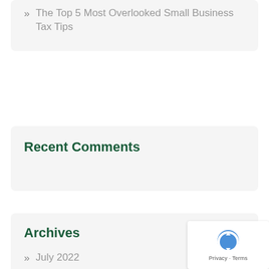» The Top 5 Most Overlooked Small Business Tax Tips
Recent Comments
Archives
» July 2022
» June 2022